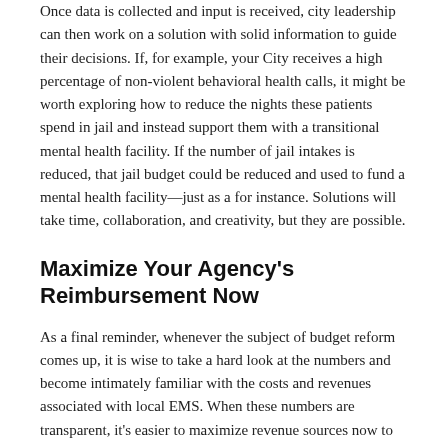Once data is collected and input is received, city leadership can then work on a solution with solid information to guide their decisions. If, for example, your City receives a high percentage of non-violent behavioral health calls, it might be worth exploring how to reduce the nights these patients spend in jail and instead support them with a transitional mental health facility. If the number of jail intakes is reduced, that jail budget could be reduced and used to fund a mental health facility—just as a for instance. Solutions will take time, collaboration, and creativity, but they are possible.
Maximize Your Agency's Reimbursement Now
As a final reminder, whenever the subject of budget reform comes up, it is wise to take a hard look at the numbers and become intimately familiar with the costs and revenues associated with local EMS. When these numbers are transparent, it's easier to maximize revenue sources now to better weather a potential budgetary storm.